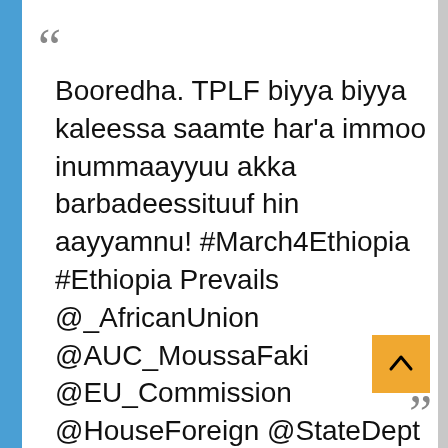Booredha. TPLF biyya biyya kaleessa saamte har'a immoo inummaayyuu akka barbadeessituuf hin aayyamnu! #March4Ethiopia #Ethiopia Prevails @_AfricanUnion @AUC_MoussaFaki @EU_Commission @HouseForeign @StateDept @SecBlinken @USAmbUN @AmbassadorRice @POTUS